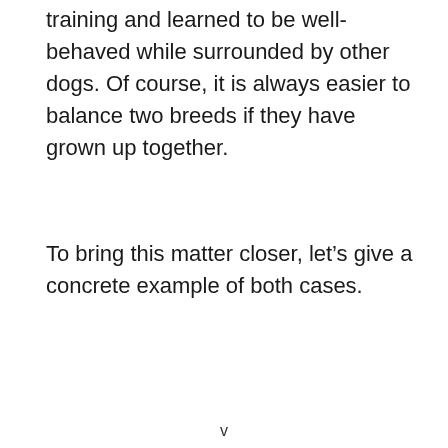training and learned to be well-behaved while surrounded by other dogs. Of course, it is always easier to balance two breeds if they have grown up together.
To bring this matter closer, let’s give a concrete example of both cases.
v